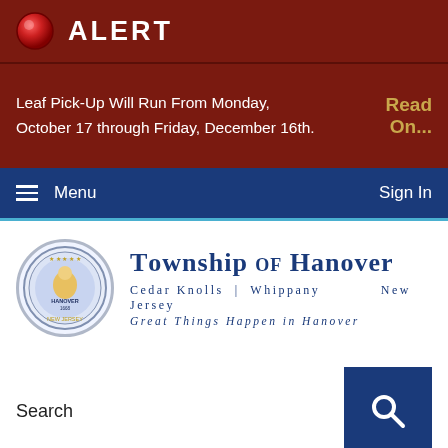ALERT
Leaf Pick-Up Will Run From Monday, October 17 through Friday, December 16th.
Read On...
Menu
Sign In
[Figure (logo): Township of Hanover official seal, circular badge with blue border]
Township of Hanover
Cedar Knolls | Whippany   New Jersey
Great Things Happen in Hanover
Search